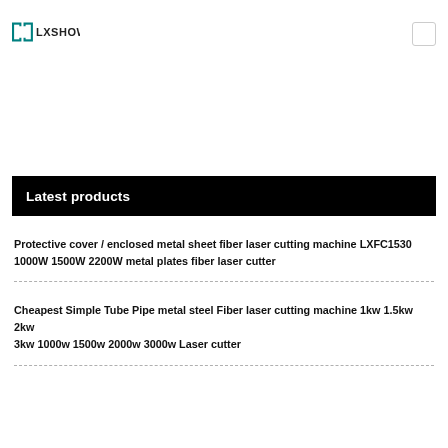[Figure (logo): LXSHOW company logo with teal/green angular bracket icons and the text LXSHOW in bold sans-serif]
Latest products
Protective cover / enclosed metal sheet fiber laser cutting machine LXFC1530 1000W 1500W 2200W metal plates fiber laser cutter
Cheapest Simple Tube Pipe metal steel Fiber laser cutting machine 1kw 1.5kw 2kw 3kw 1000w 1500w 2000w 3000w Laser cutter